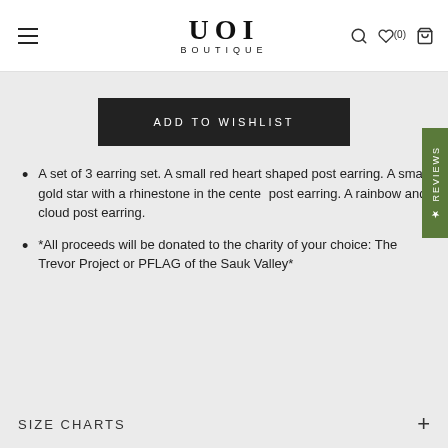UOI BOUTIQUE
ADD TO WISHLIST
A set of 3 earring set. A small red heart shaped post earring. A small gold star with a rhinestone in the center post earring. A rainbow and cloud post earring.
*All proceeds will be donated to the charity of your choice: The Trevor Project or PFLAG of the Sauk Valley*
SIZE CHARTS